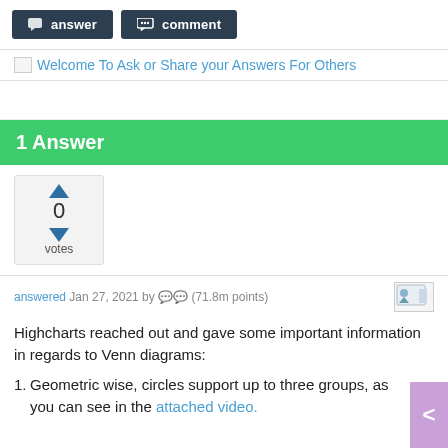[Figure (screenshot): Two dark navy buttons labeled 'answer' and 'comment' with chat bubble icons]
Welcome To Ask or Share your Answers For Others
1 Answer
[Figure (infographic): Vote widget showing up and down arrows with 0 votes]
answered Jan 27, 2021 by (71.8m points)
Highcharts reached out and gave some important information in regards to Venn diagrams:
Geometric wise, circles support up to three groups, as you can see in the attached video.